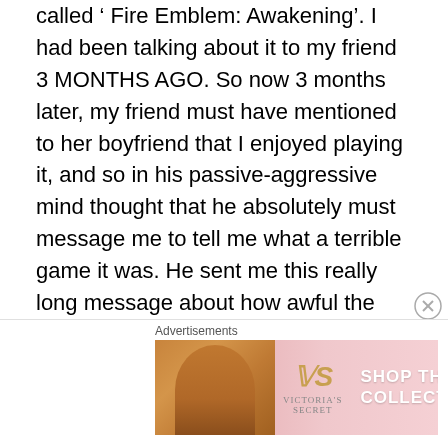called ' Fire Emblem: Awakening'. I had been talking about it to my friend 3 MONTHS AGO. So now 3 months later, my friend must have mentioned to her boyfriend that I enjoyed playing it, and so in his passive-aggressive mind thought that he absolutely must message me to tell me what a terrible game it was. He sent me this really long message about how awful the game is compared to the original games, that the “recruitment stories were trash” and pretty much was 'educating' me that I shouldn’t be playing the game as  female because the game objectifies women. But it’s totally fine that he plays it. What really shocked me about this was that, this guy would have had to ask my friend what my full name was, go searching for
Advertisements
[Figure (other): Victoria's Secret advertisement banner with a model, VS logo, 'SHOP THE COLLECTION' text, and a 'SHOP NOW' button.]